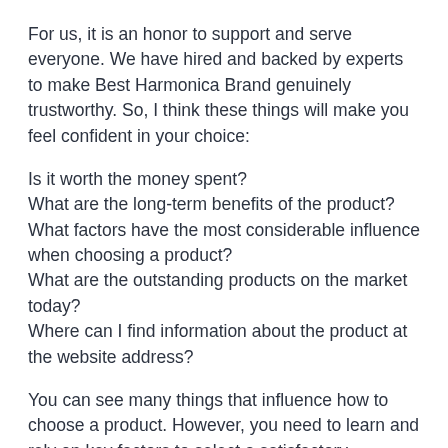For us, it is an honor to support and serve everyone. We have hired and backed by experts to make Best Harmonica Brand genuinely trustworthy. So, I think these things will make you feel confident in your choice:
Is it worth the money spent?
What are the long-term benefits of the product?
What factors have the most considerable influence when choosing a product?
What are the outstanding products on the market today?
Where can I find information about the product at the website address?
You can see many things that influence how to choose a product. However, you need to learn and rely on key factors to select a satisfactory outcome. We'll give you a few things to keep in mind when